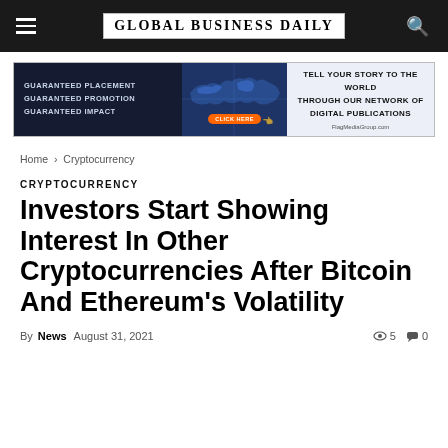GLOBAL BUSINESS DAILY
[Figure (infographic): Advertisement banner: 'Guaranteed Placement Guaranteed Promotion Guaranteed Impact / Tell Your Story To The World Through Our Network Of Digital Publications / FlagMediaGroup.com' with world map graphic and orange CLICK HERE button]
Home › Cryptocurrency
CRYPTOCURRENCY
Investors Start Showing Interest In Other Cryptocurrencies After Bitcoin And Ethereum's Volatility
By News  August 31, 2021  👁 5  💬 0